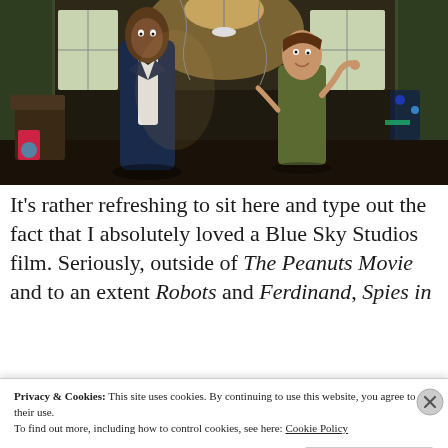[Figure (screenshot): Animated movie still showing two cartoon characters in a dimly lit room — a tall figure in a tuxedo on the left and a teenage boy on the right, from the Blue Sky Studios film 'Spies in Disguise']
It's rather refreshing to sit here and type out the fact that I absolutely loved a Blue Sky Studios film. Seriously, outside of The Peanuts Movie and to an extent Robots and Ferdinand, Spies in
Privacy & Cookies: This site uses cookies. By continuing to use this website, you agree to their use.
To find out more, including how to control cookies, see here: Cookie Policy
Close and accept